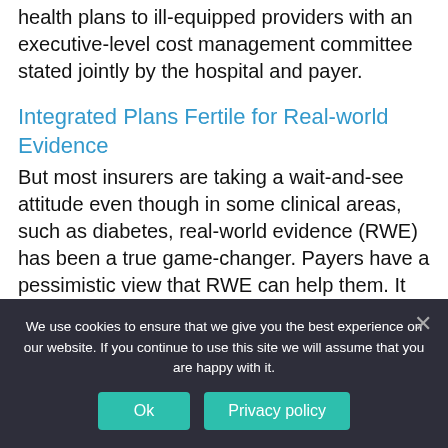health plans to ill-equipped providers with an executive-level cost management committee stated jointly by the hospital and payer.
Integrated Plans Fertile for Real-world Evidence
But most insurers are taking a wait-and-see attitude even though in some clinical areas, such as diabetes, real-world evidence (RWE) has been a true game-changer. Payers have a pessimistic view that RWE can help them. It doesn't help that respected voices in health care agree.
We use cookies to ensure that we give you the best experience on our website. If you continue to use this site we will assume that you are happy with it.